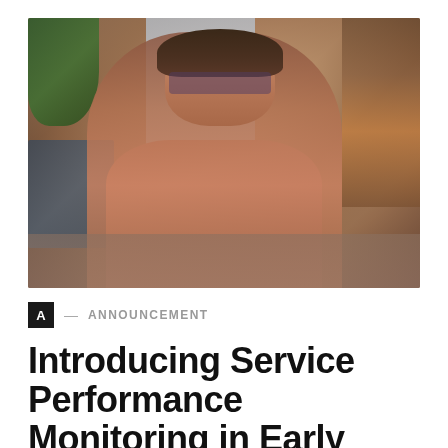[Figure (photo): Woman with glasses wearing a salmon/rose-colored shirt sitting at a desk, looking at a computer screen, in a home office or cafe setting with a window and bookshelf in the background.]
A — ANNOUNCEMENT
Introducing Service Performance Monitoring in Early Access